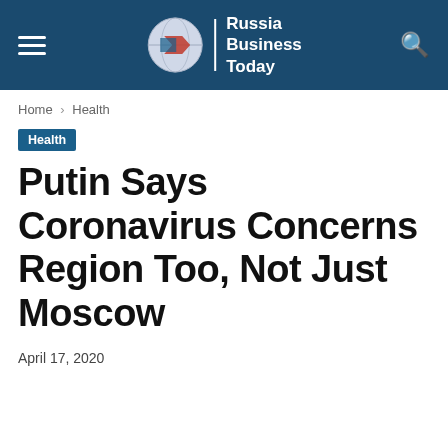Russia Business Today
Home › Health
Health
Putin Says Coronavirus Concerns Region Too, Not Just Moscow
April 17, 2020